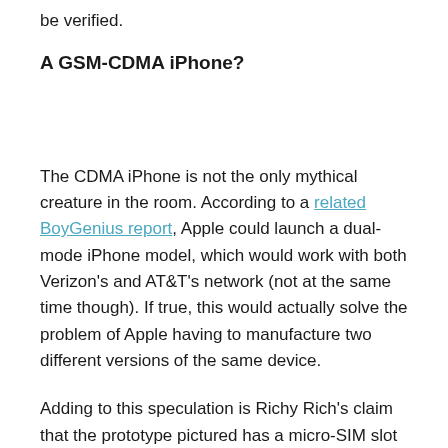be verified.
A GSM-CDMA iPhone?
The CDMA iPhone is not the only mythical creature in the room. According to a related BoyGenius report, Apple could launch a dual-mode iPhone model, which would work with both Verizon's and AT&T's network (not at the same time though). If true, this would actually solve the problem of Apple having to manufacture two different versions of the same device.
Adding to this speculation is Richy Rich's claim that the prototype pictured has a micro-SIM slot alongside the CDMA internals (though evidence of this is not shown in the photo, to wit...)